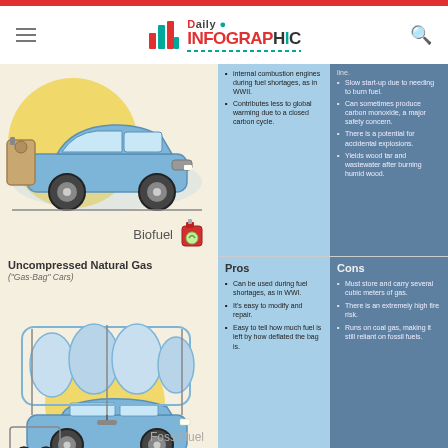Daily Infographic
[Figure (infographic): Biofuel car illustration with yellow circle background and biofuel canister label]
Contributes less to global warming due to a closed carbon cycle.
Slow start-up due to needing to burn fuel.
Can sometimes produce carbon monoxide, a major safety concern.
There is a potential for accidental explosions.
Yields wood tar and wastewater after burning humid wood.
Uncompressed Natural Gas
("Gas-Bag" Cars)
[Figure (illustration): Gas-bag car illustration with large bag on roof, yellow circle background]
Pros
Can be used during fuel shortages, as in WWI.
It's easy to modify and repair.
Easy to tell how much fuel is left by how deflated the bag is.
Cons
Must store and carry several cubic meters of gas.
There is an extremely high fire risk.
Runs on coal gas, making it still reliant on fossil fuels.
Fossil fuel